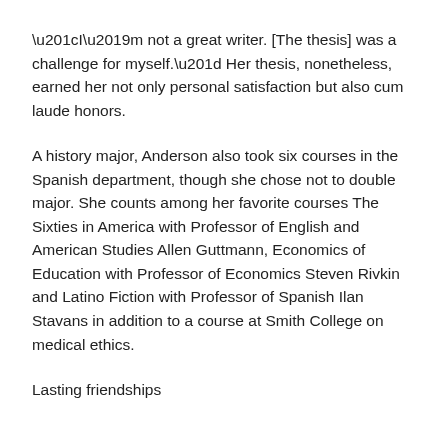“I’m not a great writer. [The thesis] was a challenge for myself.” Her thesis, nonetheless, earned her not only personal satisfaction but also cum laude honors.
A history major, Anderson also took six courses in the Spanish department, though she chose not to double major. She counts among her favorite courses The Sixties in America with Professor of English and American Studies Allen Guttmann, Economics of Education with Professor of Economics Steven Rivkin and Latino Fiction with Professor of Spanish Ilan Stavans in addition to a course at Smith College on medical ethics.
Lasting friendships